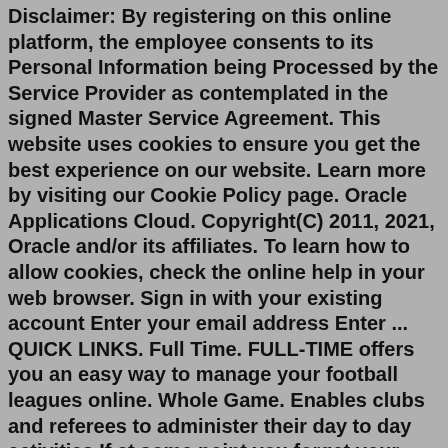Disclaimer: By registering on this online platform, the employee consents to its Personal Information being Processed by the Service Provider as contemplated in the signed Master Service Agreement. This website uses cookies to ensure you get the best experience on our website. Learn more by visiting our Cookie Policy page. Oracle Applications Cloud. Copyright(C) 2011, 2021, Oracle and/or its affiliates. To learn how to allow cookies, check the online help in your web browser. Sign in with your existing account Enter your email address Enter ... QUICK LINKS. Full Time. FULL-TIME offers you an easy way to manage your football leagues online. Whole Game. Enables clubs and referees to administer their day to day activities If at some point you forget your Password, enter the Student ID field and click the Forgot Your Password? link and you can reset your Password. Problems logging into ESM FAOnline? Contact Eastman Financial Aid at 585-274-1070 or financialaid@esm.rochester.edu. Remember - Your financial aid information is confidential. Do not share